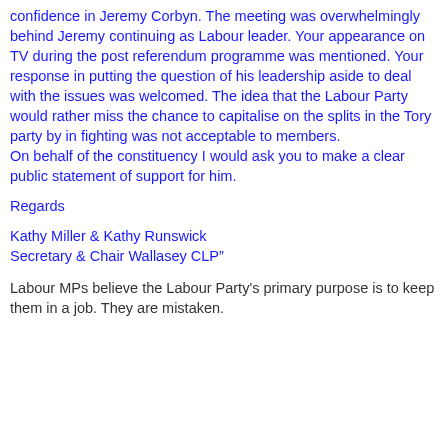confidence in Jeremy Corbyn. The meeting was overwhelmingly behind Jeremy continuing as Labour leader. Your appearance on TV during the post referendum programme was mentioned. Your response in putting the question of his leadership aside to deal with the issues was welcomed. The idea that the Labour Party would rather miss the chance to capitalise on the splits in the Tory party by in fighting was not acceptable to members.
On behalf of the constituency I would ask you to make a clear public statement of support for him.
Regards
Kathy Miller & Kathy Runswick
Secretary & Chair Wallasey CLP”
Labour MPs believe the Labour Party's primary purpose is to keep them in a job. They are mistaken.